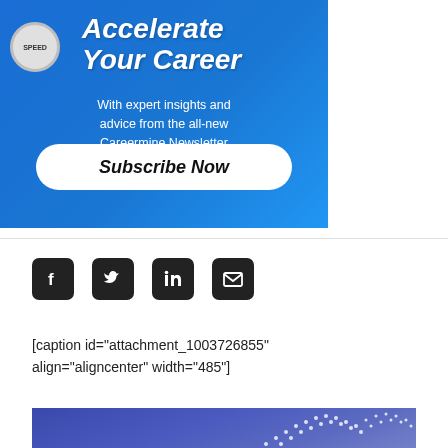[Figure (illustration): Blue background promotional banner for Careermine Newsletter with title 'Accelerate Your Career', subtitle text 'With expert insights and advice from the all-new Careermine Newsletter', a white rounded Subscribe Now button, a paper plane graphic, and a speed dial badge in corner.]
[Figure (illustration): Four social media icons in dark square rounded boxes: Facebook, Twitter, LinkedIn, Email/envelope.]
[caption id="attachment_1003726855" align="aligncenter" width="485"]
[Figure (illustration): Dark blue/purple abstract digital network image with white dot matrix wave pattern in lower right corner.]